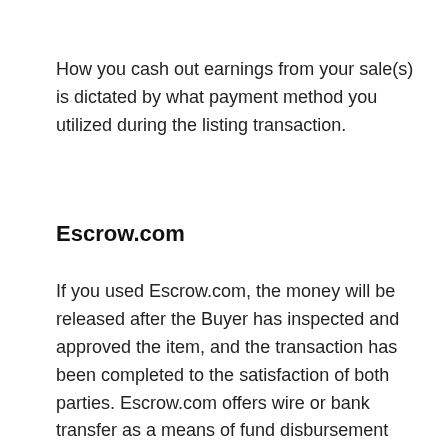How you cash out earnings from your sale(s) is dictated by what payment method you utilized during the listing transaction.
Escrow.com
If you used Escrow.com, the money will be released after the Buyer has inspected and approved the item, and the transaction has been completed to the satisfaction of both parties. Escrow.com offers wire or bank transfer as a means of fund disbursement worldwide. Additionally, electronic check (ACH) payments are available for U.S. customers only. If you have additional questions, please consult the Escrow.com FAQ.
Affirm
Affirm is powered by Stripe, and provides your buyers with